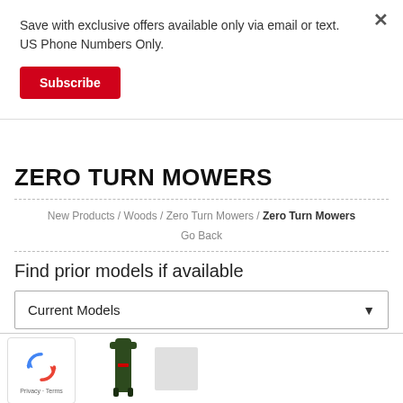Save with exclusive offers available only via email or text. US Phone Numbers Only.
Subscribe
ZERO TURN MOWERS
New Products / Woods / Zero Turn Mowers / Zero Turn Mowers
Go Back
Find prior models if available
Current Models
[Figure (screenshot): Partial product image showing a zero-turn mower handle/frame in dark green, with a reCAPTCHA badge in the lower left corner showing the Google reCAPTCHA logo and Privacy/Terms links, and a placeholder image box.]